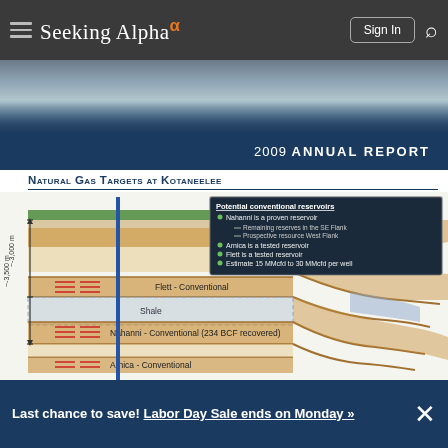Seeking Alpha — navigation bar
[Figure (photo): Photo strip showing an aerial or landscape view partially visible, transitioning into a dark navy blue annual report cover banner reading '2009 ANNUAL REPORT']
Natural Gas Targets at Kotaneelee
[Figure (engineering-diagram): Cross-section geological diagram showing Natural Gas Targets at Kotaneelee. A vertical borehole (blue line) penetrates multiple geological layers from surface (~0 m) down through ~-3,000 m and ~-3,500 m depth markers. Layers labeled from top: surface (green), Flett - Conventional (~-3,000 m, with red flow arrows), Shale (blue-grey dashed), Nahanni - Conventional (234 BCF recovered) (~-3,500 m, with red flow arrows), Arnica - Conventional (partially visible at bottom). The right side shows folded/faulted reservoir structures in brown/tan with a blue-grey section. A legend box (top right) lists: Potential conventional reservoirs — Nahanni is a proven reservoir (Remaining reserves in the SE Flank; Prospective resource West Flank), Arnica is a tested reservoir, Flett is a tested reservoir, Estimate 15 MMcfd to 30 MMcfd per well.]
Last chance to save! Labor Day Sale ends on Monday »